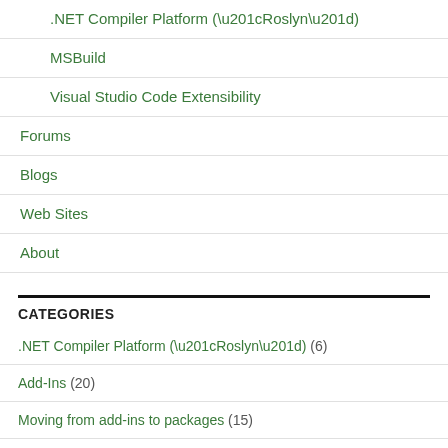.NET Compiler Platform (“Roslyn”)
MSBuild
Visual Studio Code Extensibility
Forums
Blogs
Web Sites
About
CATEGORIES
.NET Compiler Platform (“Roslyn”) (6)
Add-Ins (20)
Moving from add-ins to packages (15)